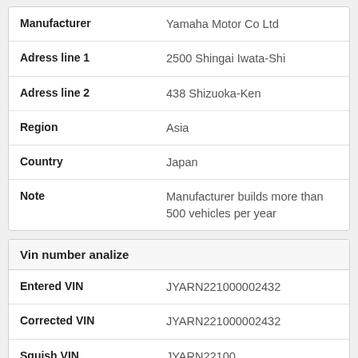| Field | Value |
| --- | --- |
| Manufacturer | Yamaha Motor Co Ltd |
| Adress line 1 | 2500 Shingai Iwata-Shi |
| Adress line 2 | 438 Shizuoka-Ken |
| Region | Asia |
| Country | Japan |
| Note | Manufacturer builds more than 500 vehicles per year |
Vin number analize
| Field | Value |
| --- | --- |
| Entered VIN | JYARN221000002432 |
| Corrected VIN | JYARN221000002432 |
| Squish VIN | JYARN22100 |
| WMI | JYA |